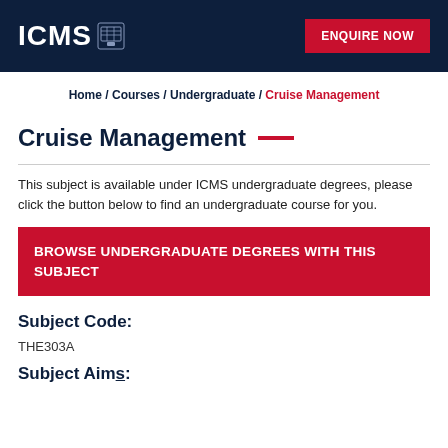ICMS  ENQUIRE NOW
Home / Courses / Undergraduate / Cruise Management
Cruise Management
This subject is available under ICMS undergraduate degrees, please click the button below to find an undergraduate course for you.
BROWSE UNDERGRADUATE DEGREES WITH THIS SUBJECT
Subject Code:
THE303A
Subject Aims: